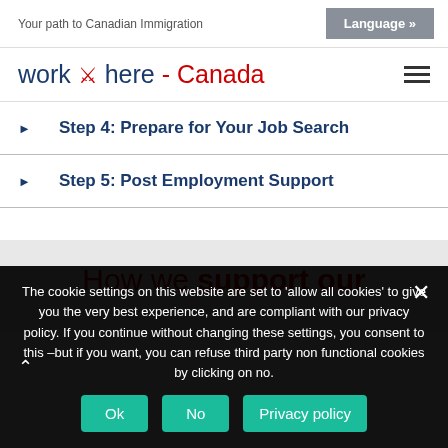Your path to Canadian Immigration | Language »
work ♦ here - Canada
Step 4: Prepare for Your Job Search
Step 5: Post Employment Support
How we support our
The cookie settings on this website are set to 'allow all cookies' to give you the very best experience, and are compliant with our privacy policy. If you continue without changing these settings, you consent to this –but if you want, you can refuse third party non functional cookies by clicking on no.